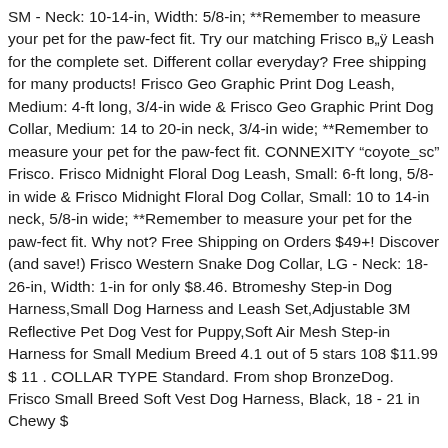SM - Neck: 10-14-in, Width: 5/8-in; **Remember to measure your pet for the paw-fect fit. Try our matching Frisco в„ÿ Leash for the complete set. Different collar everyday? Free shipping for many products! Frisco Geo Graphic Print Dog Leash, Medium: 4-ft long, 3/4-in wide & Frisco Geo Graphic Print Dog Collar, Medium: 14 to 20-in neck, 3/4-in wide; **Remember to measure your pet for the paw-fect fit. CONNEXITY "coyote_sc" Frisco. Frisco Midnight Floral Dog Leash, Small: 6-ft long, 5/8-in wide & Frisco Midnight Floral Dog Collar, Small: 10 to 14-in neck, 5/8-in wide; **Remember to measure your pet for the paw-fect fit. Why not? Free Shipping on Orders $49+! Discover (and save!) Frisco Western Snake Dog Collar, LG - Neck: 18-26-in, Width: 1-in for only $8.46. Btromeshy Step-in Dog Harness,Small Dog Harness and Leash Set,Adjustable 3M Reflective Pet Dog Vest for Puppy,Soft Air Mesh Step-in Harness for Small Medium Breed 4.1 out of 5 stars 108 $11.99 $ 11 . COLLAR TYPE Standard. From shop BronzeDog. Frisco Small Breed Soft Vest Dog Harness, Black, 18 - 21 in Chewy $